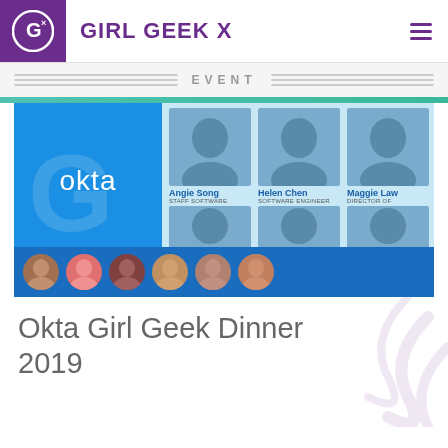Girl Geek X
[Figure (screenshot): Okta Girl Geek Dinner 2019 event promotional image showing Okta logo, speaker headshots including Angie Song (Staff Software Engineer), Helen Chen (Software Engineer), Maggie Law (Director of Product Design), Jade Feng (Product Manager), and other speakers in a grid layout with circular photos along the bottom.]
Okta Girl Geek Dinner 2019